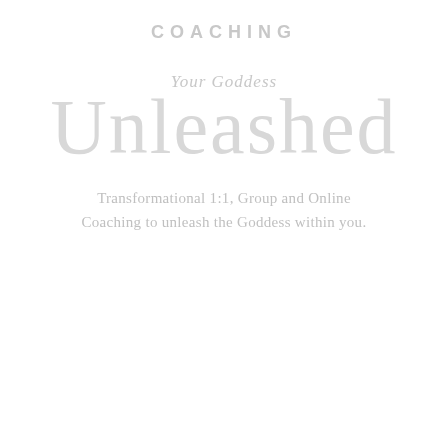COACHING
Your Goddess
Unleashed
Transformational 1:1, Group and Online Coaching to unleash the Goddess within you.